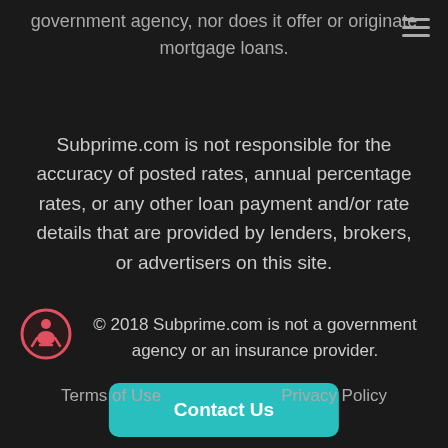government agency, nor does it offer or originate mortgage loans.
Subprime.com is not responsible for the accuracy of posted rates, annual percentage rates, or any other loan payment and/or rate details that are provided by lenders, brokers, or advertisers on this site.
[Figure (logo): Subprime.com logo: circular icon with red border and seated figure on dark background]
© 2018 Subprime.com is not a government agency or an insurance provider.
Contact Us
Terms of Use    Privacy Policy